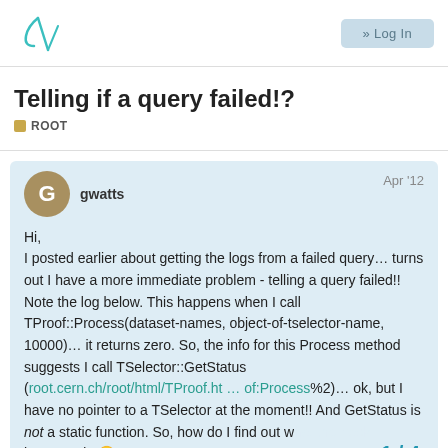ROOT forum logo and Login button
Telling if a query failed!?
ROOT
gwatts Apr '12
Hi,
I posted earlier about getting the logs from a failed query… turns out I have a more immediate problem - telling a query failed!! Note the log below. This happens when I call TProof::Process(dataset-names, object-of-tselector-name, 10000)… it returns zero. So, the info for this Process method suggests I call TSelector::GetStatus (root.cern.ch/root/html/TProof.ht … of:Process%2)… ok, but I have no pointer to a TSelector at the moment!! And GetStatus is not a static function. So, how do I find out what the heck happened? 🙂
1 / 4